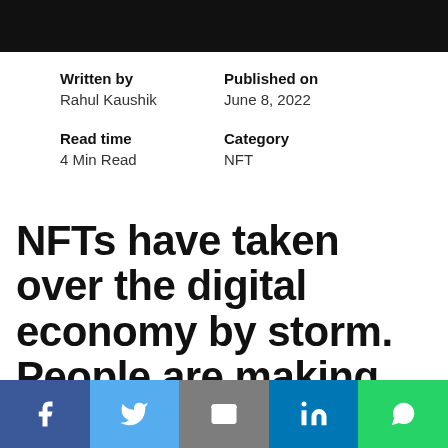Written by
Rahul Kaushik
Published on
June 8, 2022
Read time
4 Min Read
Category
NFT
NFTs have taken over the digital economy by storm. People are making millions
Share buttons: Facebook, Twitter, Email, LinkedIn, WhatsApp